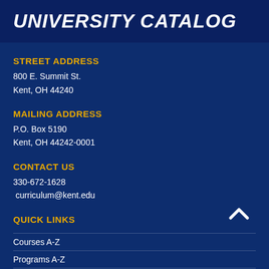UNIVERSITY CATALOG
STREET ADDRESS
800 E. Summit St.
Kent, OH 44240
MAILING ADDRESS
P.O. Box 5190
Kent, OH 44242-0001
CONTACT US
330-672-1628
curriculum@kent.edu
QUICK LINKS
Courses A-Z
Programs A-Z
Academic Policies
University Faculty